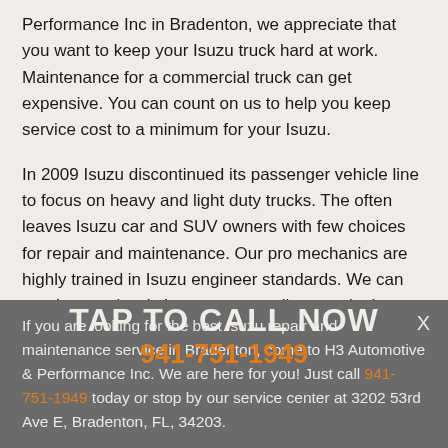Performance Inc in Bradenton, we appreciate that you want to keep your Isuzu truck hard at work. Maintenance for a commercial truck can get expensive. You can count on us to help you keep service cost to a minimum for your Isuzu.
In 2009 Isuzu discontinued its passenger vehicle line to focus on heavy and light duty trucks. The often leaves Isuzu car and SUV owners with few choices for repair and maintenance. Our pro mechanics are highly trained in Isuzu engineer standards. We can repair your classic Isuzu car as well as we do the more modern trucks.
If you are looking for the best Isuzu repair and maintenance service in Bradenton, come to H3 Automotive & Performance Inc. We are here for you! Just call 941-751-1949 today or stop by our service center at 3202 53rd Ave E, Bradenton, FL, 34203.